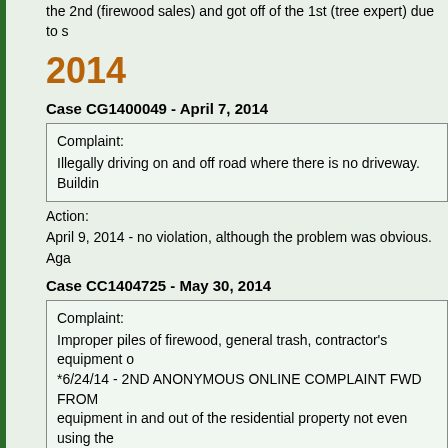the 2nd (firewood sales) and got off of the 1st (tree expert) due to s
2014
Case CG1400049 - April 7, 2014
Complaint:
Illegally driving on and off road where there is no driveway. Buildin
Action:
April 9, 2014 - no violation, although the problem was obvious. Aga
Case CC1404725 - May 30, 2014
Complaint:
Improper piles of firewood, general trash, contractor's equipment o
*6/24/14 - 2ND ANONYMOUS ONLINE COMPLAINT FWD FROM
equipment in and out of the residential property not even using the
trees stacked in the yard wood milling equipment etc... I think there
*9/11/14 - 3RD ONLINE COMPLAINT - The property has been in o
property is a complete eyesore. There are piles of wood scattered
as commercial vehicles are actively dumping loads on the property
Action:
May 30, 2014 - initial inspection